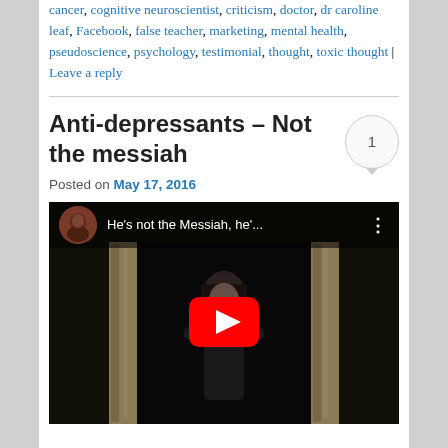cancer, cognitive neuroscientist, criticism, doctor, dr caroline leaf, Facebook, false teacher, marketing, mental health, pseudoscience, psychology, testimonial, thought, toxic thought | Leave a reply
Anti-depressants – Not the messiah
Posted on May 17, 2016
[Figure (screenshot): YouTube video thumbnail showing a person in dark clothing standing in a stone doorway, with the video title 'He's not the Messiah, he'...' and a YouTube play button overlay. A red circular avatar of a face is visible in the top-left.]